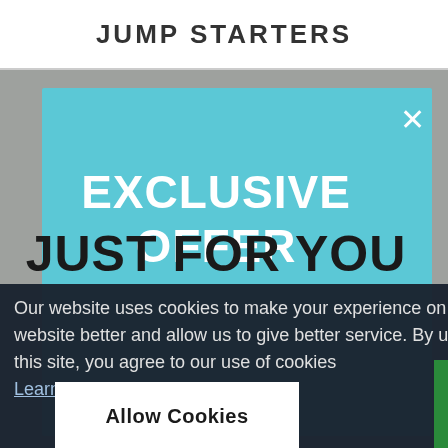JUMP STARTERS
EXCLUSIVE OFFER
JUST FOR YOU
Our website uses cookies to make your experience on our website better and allow us to give better service. By using this site, you agree to our use of cookies
Learn more.
SUBMIT
Allow Cookies